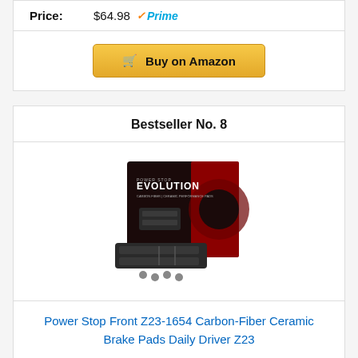Price: $64.98 Prime
Buy on Amazon
Bestseller No. 8
[Figure (photo): Power Stop Evolution Carbon-Fiber Ceramic Brake Pads product box with brake pads and hardware]
Power Stop Front Z23-1654 Carbon-Fiber Ceramic Brake Pads Daily Driver Z23
Price: $44.98 Prime